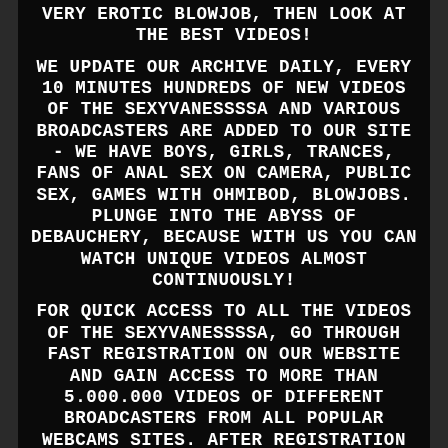VERY EROTIC BLOWJOB, THEN LOOK AT THE BEST VIDEOS!
WE UPDATE OUR ARCHIVE DAILY, EVERY 10 MINUTES HUNDREDS OF NEW VIDEOS OF THE SEXYVANESSSSA AND VARIOUS BROADCASTERS ARE ADDED TO OUR SITE - WE HAVE BOYS, GIRLS, TRANCES, FANS OF ANAL SEX ON CAMERA, PUBLIC SEX, GAMES WITH OHMIBOD, BLOWJOBS. PLUNGE INTO THE ABYSS OF DEBAUCHERY, BECAUSE WITH US YOU CAN WATCH UNIQUE VIDEOS ALMOST CONTINUOUSLY!
FOR QUICK ACCESS TO ALL THE VIDEOS OF THE SEXYVANESSSSA, GO THROUGH FAST REGISTRATION ON OUR WEBSITE AND GAIN ACCESS TO MORE THAN 5.000.000 VIDEOS OF DIFFERENT BROADCASTERS FROM ALL POPULAR WEBCAMS SITES. AFTER REGISTRATION YOU WILL GET UNLIMITED ACCESS TO VIEWING AND DOWNLOADING RECORDS, THE ABILITY TO SUBSCRIBE TO FAVORITE MODELS, AS WELL AS THE